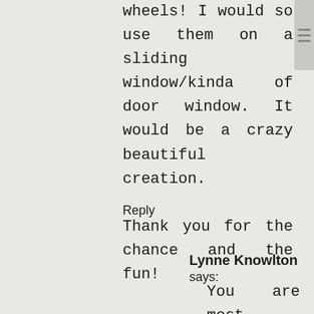wheels! I would so use them on a sliding window/kinda of door window. It would be a crazy beautiful creation.
Thank you for the chance and the fun!
Reply
Lynne Knowlton says:
You are most welcome Robin, this contest has